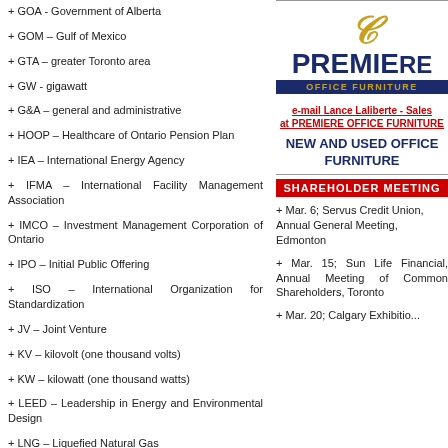+ GOA - Government of Alberta
+ GOM – Gulf of Mexico
+ GTA – greater Toronto area
+ GW - gigawatt
+ G&A – general and administrative
+ HOOP – Healthcare of Ontario Pension Plan
+ IEA – International Energy Agency
+ IFMA – International Facility Management Association
+ IMCO – Investment Management Corporation of Ontario
+ IPO – Initial Public Offering
+ ISO – International Organization for Standardization
+ JV – Joint Venture
+ KV – kilovolt (one thousand volts)
+ KW – kilowatt (one thousand watts)
+ LEED – Leadership in Energy and Environmental Design
+ LNG – Liquefied Natural Gas
+ LPG – Liquefied Propane Gas
[Figure (logo): Premiere Office Furniture logo with stylized D in gold and blue text]
e-mail Lance Laliberte - Sales at PREMIERE OFFICE FURNITURE
NEW AND USED OFFICE FURNITURE
SHAREHOLDER MEETINGS
+ Mar. 6; Servus Credit Union, Annual General Meeting, Edmonton
+ Mar. 15; Sun Life Financial, Annual Meeting of Common Shareholders, Toronto
+ Mar. 20; Calgary Exhibition...